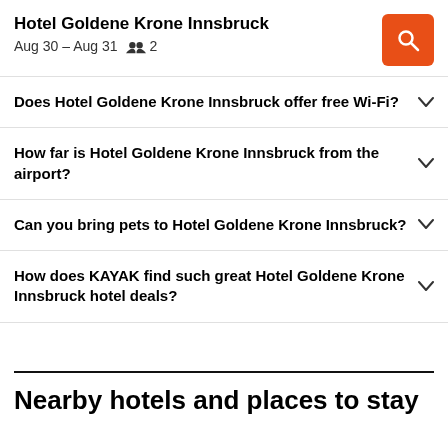Hotel Goldene Krone Innsbruck
Aug 30 – Aug 31  👥 2
Does Hotel Goldene Krone Innsbruck offer free Wi-Fi?
How far is Hotel Goldene Krone Innsbruck from the airport?
Can you bring pets to Hotel Goldene Krone Innsbruck?
How does KAYAK find such great Hotel Goldene Krone Innsbruck hotel deals?
Nearby hotels and places to stay